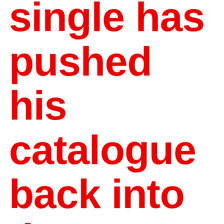single has pushed his catalogue back into the top 20 this week.